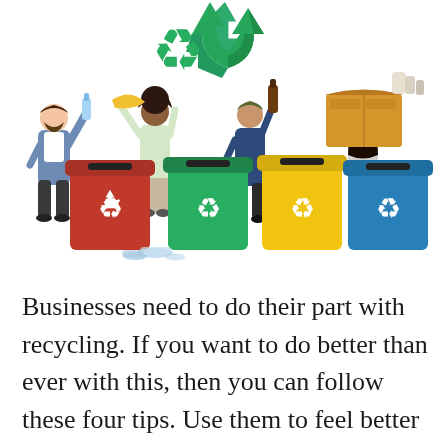[Figure (illustration): Illustration of four people holding recyclable items (plastic bottle, yellow cloth, glass bottle, cardboard box) above four colored recycling bins (red, green, yellow, blue), each with the recycling symbol. A green recycling symbol floats above the scene.]
Businesses need to do their part with recycling. If you want to do better than ever with this, then you can follow these four tips. Use them to feel better about what your business is doing for the